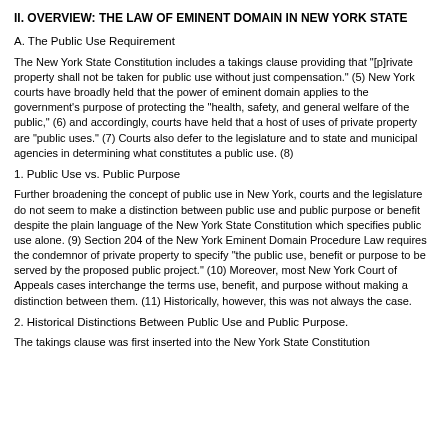II. OVERVIEW: THE LAW OF EMINENT DOMAIN IN NEW YORK STATE
A. The Public Use Requirement
The New York State Constitution includes a takings clause providing that "[p]rivate property shall not be taken for public use without just compensation." (5) New York courts have broadly held that the power of eminent domain applies to the government's purpose of protecting the "health, safety, and general welfare of the public," (6) and accordingly, courts have held that a host of uses of private property are "public uses." (7) Courts also defer to the legislature and to state and municipal agencies in determining what constitutes a public use. (8)
1. Public Use vs. Public Purpose
Further broadening the concept of public use in New York, courts and the legislature do not seem to make a distinction between public use and public purpose or benefit despite the plain language of the New York State Constitution which specifies public use alone. (9) Section 204 of the New York Eminent Domain Procedure Law requires the condemnor of private property to specify "the public use, benefit or purpose to be served by the proposed public project." (10) Moreover, most New York Court of Appeals cases interchange the terms use, benefit, and purpose without making a distinction between them. (11) Historically, however, this was not always the case.
2. Historical Distinctions Between Public Use and Public Purpose.
The takings clause was first inserted into the New York State Constitution